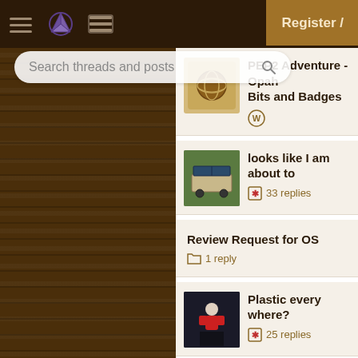[Figure (screenshot): Top navigation bar with hamburger menu, pie chart icon, list icon, and Register button on dark brown background]
[Figure (screenshot): Search bar with placeholder text 'Search threads and posts' and magnifier icon]
PEP2 Adventure - Opah Bits and Badges
looks like I am about to
33 replies
Review Request for OS
1 reply
Plastic every where?
25 replies
Register /